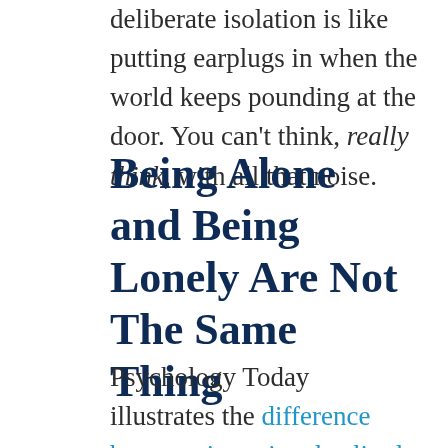deliberate isolation is like putting earplugs in when the world keeps pounding at the door. You can't think, really think, with all that noise.
Being Alone and Being Lonely Are Not The Same Thing
Psychology Today illustrates the difference between intentional solitude and loneliness. Pop culture likes to see them as the same, but loneliness is the feeling of missing something one would